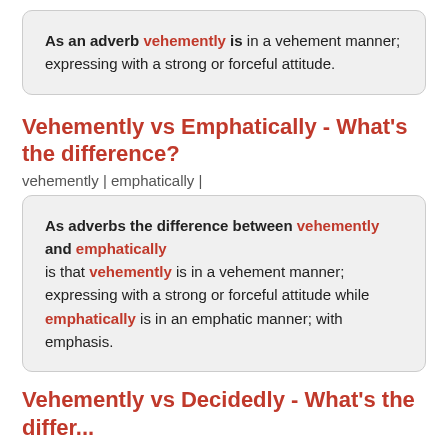As an adverb vehemently is in a vehement manner; expressing with a strong or forceful attitude.
Vehemently vs Emphatically - What's the difference?
vehemently | emphatically |
As adverbs the difference between vehemently and emphatically is that vehemently is in a vehement manner; expressing with a strong or forceful attitude while emphatically is in an emphatic manner; with emphasis.
Vehemently vs Decidedly - What's the differ...